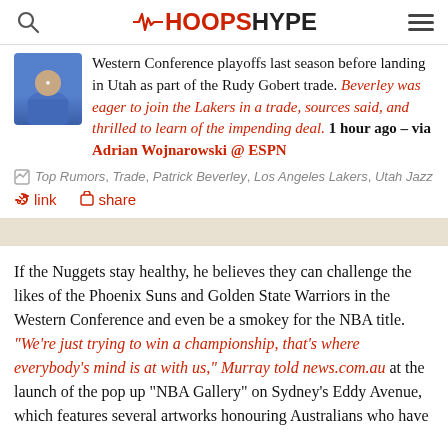HOOPSHYPE
Western Conference playoffs last season before landing in Utah as part of the Rudy Gobert trade. Beverley was eager to join the Lakers in a trade, sources said, and thrilled to learn of the impending deal. 1 hour ago – via Adrian Wojnarowski @ ESPN
Top Rumors, Trade, Patrick Beverley, Los Angeles Lakers, Utah Jazz
link   share
If the Nuggets stay healthy, he believes they can challenge the likes of the Phoenix Suns and Golden State Warriors in the Western Conference and even be a smokey for the NBA title. "We're just trying to win a championship, that's where everybody's mind is at with us," Murray told news.com.au at the launch of the pop up "NBA Gallery" on Sydney's Eddy Avenue, which features several artworks honouring Australians who have